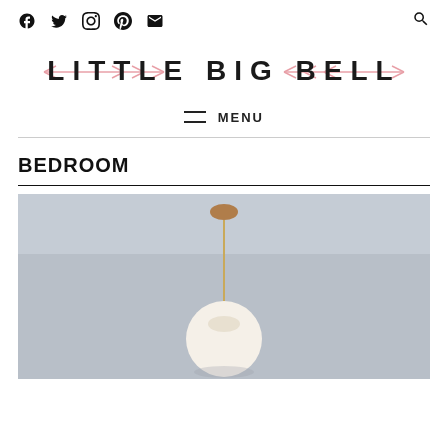Social icons: Facebook, Twitter, Instagram, Pinterest, Mail, Search
LITTLE BIG BELL
≡ MENU
BEDROOM
[Figure (photo): A pendant lamp with a round wooden top, thin cord, and white glass globe shade hanging against a light gray background.]